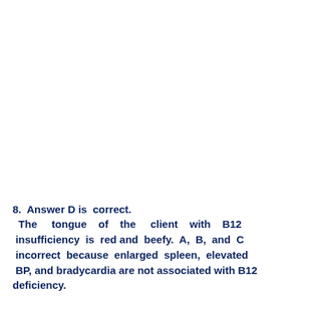8.  Answer D is  correct. The tongue of the client with B12 insufficiency is red and beefy. A, B, and C incorrect because enlarged spleen, elevated BP, and bradycardia are not associated with B12 deficiency.